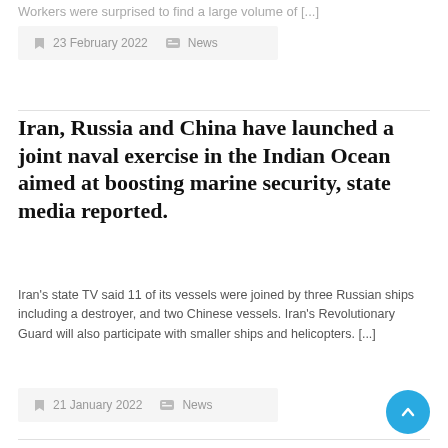Workers were surprised to find a large volume of [...]
23 February 2022   News
Iran, Russia and China have launched a joint naval exercise in the Indian Ocean aimed at boosting marine security, state media reported.
Iran's state TV said 11 of its vessels were joined by three Russian ships including a destroyer, and two Chinese vessels. Iran's Revolutionary Guard will also participate with smaller ships and helicopters. [...]
21 January 2022   News